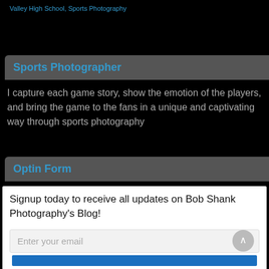Valley High School, Sports Photography
Sports Photographer
I capture each game story, show the emotion of the players, and bring the game to the fans in a unique and captivating way through sports photography
Optin Form
Signup today to receive all updates on Bob Shank Photography's Blog!
Enter your email